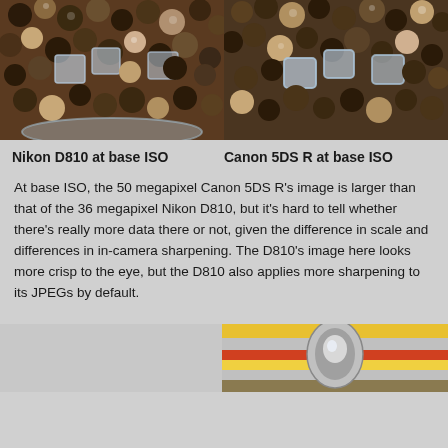[Figure (photo): Close-up photo of mixed peppercorns in a grinder/bowl - Nikon D810 at base ISO]
[Figure (photo): Close-up photo of mixed peppercorns in a grinder/bowl - Canon 5DS R at base ISO]
Nikon D810 at base ISO
Canon 5DS R at base ISO
At base ISO, the 50 megapixel Canon 5DS R's image is larger than that of the 36 megapixel Nikon D810, but it's hard to tell whether there's really more data there or not, given the difference in scale and differences in in-camera sharpening. The D810's image here looks more crisp to the eye, but the D810 also applies more sharpening to its JPEGs by default.
[Figure (photo): Partial view of a second comparison image - appears to show a metallic/chrome object with colorful background]